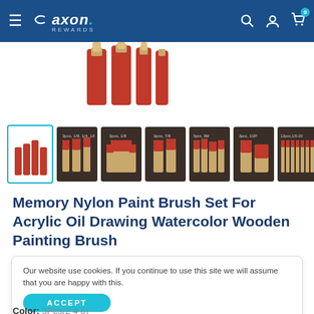[Figure (screenshot): Caxon Rewards e-commerce website navigation bar with hamburger menu, logo, search, account, and cart icons on a dark blue background]
[Figure (photo): Close-up of orange-handled paint brushes shown from above on white background]
[Figure (photo): Thumbnail strip of 7 product images showing various paint brush set configurations against dark brown backgrounds]
Memory Nylon Paint Brush Set For Acrylic Oil Drawing Watercolor Wooden Painting Brush
Our website use cookies. If you continue to use this site we will assume that you are happy with this.
ACCEPT
Color:  3Pcs(2 4 6)